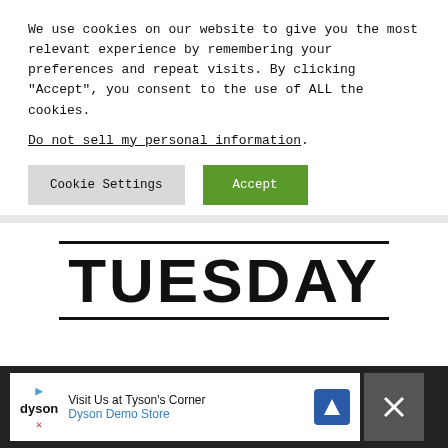We use cookies on our website to give you the most relevant experience by remembering your preferences and repeat visits. By clicking “Accept”, you consent to the use of ALL the cookies. Do not sell my personal information.
Cookie Settings | Accept
TUESDAY
Mexican Chicken Tostada with Corn, Zucchini and Avocado-lime salsa From Panning the Globe
[Figure (screenshot): Advertisement bar at bottom: Dyson Demo Store - Visit Us at Tyson's Corner]